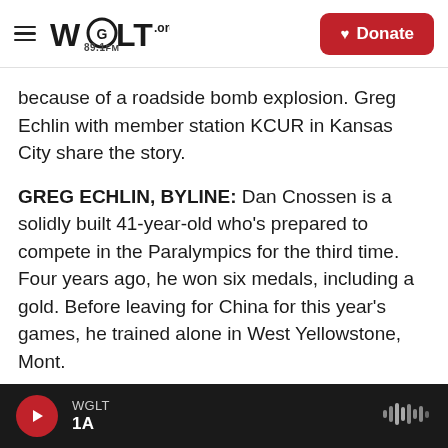WGLT.org 89.1FM | Donate
because of a roadside bomb explosion. Greg Echlin with member station KCUR in Kansas City share the story.
GREG ECHLIN, BYLINE: Dan Cnossen is a solidly built 41-year-old who's prepared to compete in the Paralympics for the third time. Four years ago, he won six medals, including a gold. Before leaving for China for this year's games, he trained alone in West Yellowstone, Mont.
(SOUNDBITE OF HEAVY BREATHING)
WGLT | 1A